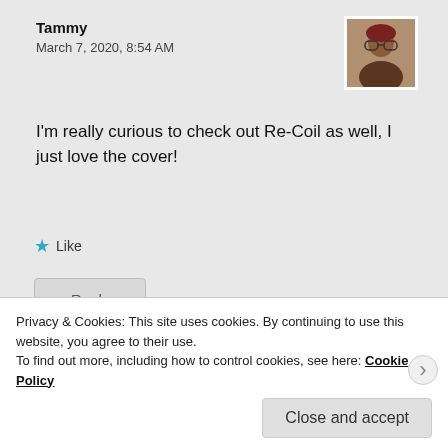Tammy
March 7, 2020, 8:54 AM
I'm really curious to check out Re-Coil as well, I just love the cover!
Like
Reply
Mogsy @ BiblioSanctum
Privacy & Cookies: This site uses cookies. By continuing to use this website, you agree to their use.
To find out more, including how to control cookies, see here: Cookie Policy
Close and accept